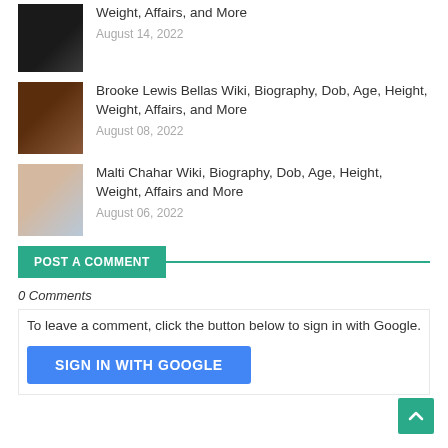Weight, Affairs, and More — August 14, 2022
Brooke Lewis Bellas Wiki, Biography, Dob, Age, Height, Weight, Affairs, and More — August 08, 2022
Malti Chahar Wiki, Biography, Dob, Age, Height, Weight, Affairs and More — August 06, 2022
POST A COMMENT
0 Comments
To leave a comment, click the button below to sign in with Google.
SIGN IN WITH GOOGLE